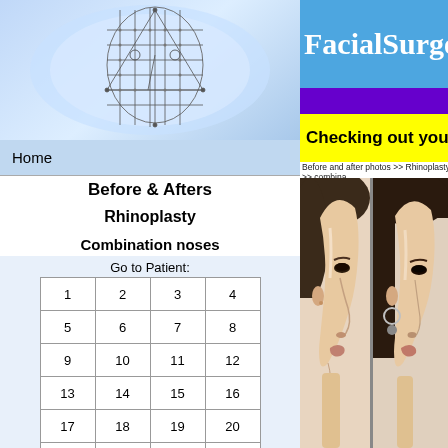[Figure (illustration): FacialSurgery.com logo with geometric face diagram on blue gradient background]
FacialSurgery.com
Checking out your plastic surg
Before and after photos >> Rhinoplasty >> combina
Home
Before & Afters
Rhinoplasty
Combination noses
| 1 | 2 | 3 | 4 |
| 5 | 6 | 7 | 8 |
| 9 | 10 | 11 | 12 |
| 13 | 14 | 15 | 16 |
| 17 | 18 | 19 | 20 |
| 21 | 22 | 23 | 24 |
| 25 | None | None | None |
[Figure (photo): Before rhinoplasty photo - side profile of woman with dark hair showing nose profile]
[Figure (photo): After rhinoplasty photo - side profile of same woman showing refined nose after surgery]